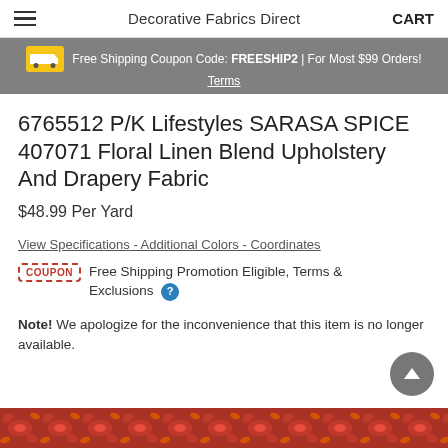Decorative Fabrics Direct  CART
Free Shipping Coupon Code: FREESHIP2 | For Most $99 Orders! Terms
6765512 P/K Lifestyles SARASA SPICE 407071 Floral Linen Blend Upholstery And Drapery Fabric
$48.99 Per Yard
View Specifications - Additional Colors - Coordinates
Free Shipping Promotion Eligible, Terms & Exclusions
Note! We apologize for the inconvenience that this item is no longer available.
[Figure (photo): Decorative fabric product image showing floral pattern in spice/red tones at the bottom of the page]